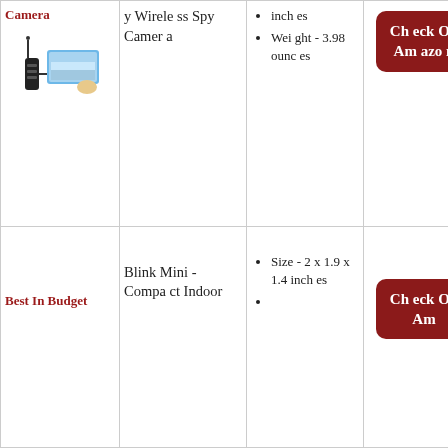| Category | Product Name | Specs | Link |
| --- | --- | --- | --- |
| Camera | y Wireless Spy Camera | Size - inches
Weight - 3.98 ounces | Check On Amazon |
| Best In Budget | Blink Mini - Compact Indoor | Size - 2 x 1.9 x 1.4 inches
• | Check On Am |